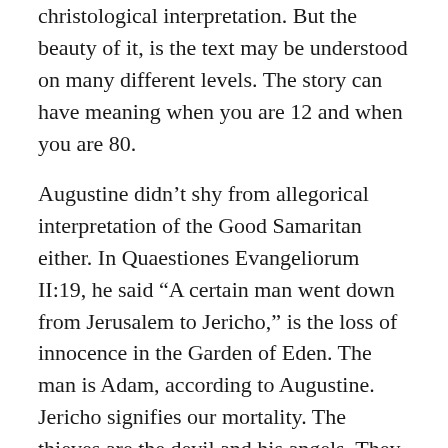christological interpretation. But the beauty of it, is the text may be understood on many different levels. The story can have meaning when you are 12 and when you are 80.
Augustine didn't shy from allegorical interpretation of the Good Samaritan either. In Quaestiones Evangeliorum II:19, he said "A certain man went down from Jerusalem to Jericho," is the loss of innocence in the Garden of Eden. The man is Adam, according to Augustine. Jericho signifies our mortality. The thieves are the devil and his angels. They stripped and beat him, meaning, they enticed him to fall into sin. The priest and Levite could not produce salvation by the law. The Samaritan is Christ. The oil is hope. The wine is the Spirit. The beast is Christ's incarnate flesh. The inn is the church. The next day is the resurrection. The two coins are the commands to love God and neighbor...